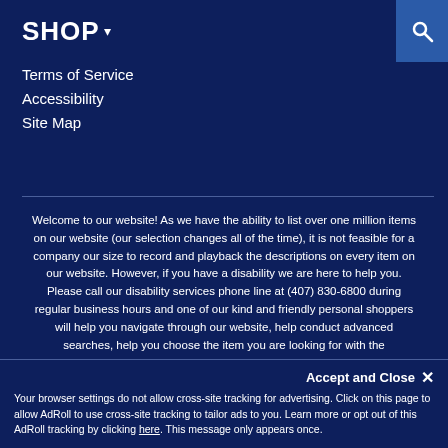SHOP ▾
Terms of Service
Accessibility
Site Map
Welcome to our website! As we have the ability to list over one million items on our website (our selection changes all of the time), it is not feasible for a company our size to record and playback the descriptions on every item on our website. However, if you have a disability we are here to help you. Please call our disability services phone line at (407) 830-6800 during regular business hours and one of our kind and friendly personal shoppers will help you navigate through our website, help conduct advanced searches, help you choose the item you are looking for with the specifications you are seeking, read you the spec[ifications] ther[e are] for an[y item] our P[age]
Welcome! My name is Dan Nantais, owner of Milcarsky's. How can I assist you today?
Your browser settings do not allow cross-site tracking for advertising. Click on this page to allow AdRoll to use cross-site tracking to tailor ads to you. Learn more or opt out of this AdRoll tracking by clicking here. This message only appears once.
Accept and Close ✕